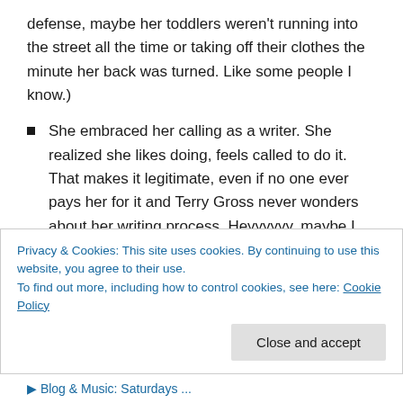defense, maybe her toddlers weren't running into the street all the time or taking off their clothes the minute her back was turned. Like some people I know.)
She embraced her calling as a writer. She realized she likes doing, feels called to do it. That makes it legitimate, even if no one ever pays her for it and Terry Gross never wonders about her writing process. Heyyyyyy, maybe I can do that, too.
She decided a “healthy balance” in her life went in both directions. That means you make time for yourself the
Privacy & Cookies: This site uses cookies. By continuing to use this website, you agree to their use.
To find out more, including how to control cookies, see here: Cookie Policy
Close and accept